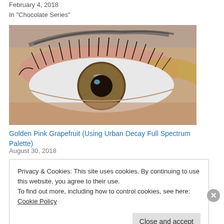February 4, 2018
In "Chocolate Series"
[Figure (photo): Close-up macro photo of a human eye with hazel/brown iris, long black eyelashes, and golden pink eyeshadow makeup. Eyebrow visible at top.]
Golden Pink Grapefruit (Using Urban Decay Full Spectrum Palette)
August 30, 2018
Privacy & Cookies: This site uses cookies. By continuing to use this website, you agree to their use.
To find out more, including how to control cookies, see here: Cookie Policy
Close and accept